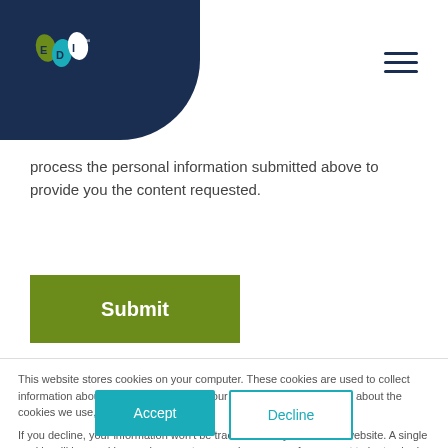[Figure (logo): EDI logo with water droplet icons and text EDI on dark navy background with curved bottom-right corner]
[Figure (other): Hamburger menu icon (three horizontal lines) in dark navy]
process the personal information submitted above to provide you the content requested.
[Figure (other): Green Submit button]
This website stores cookies on your computer. These cookies are used to collect information about how you interact with our website. To find out more about the cookies we use, see our Privacy Policy.

If you decline, your information won't be tracked when you visit this website. A single cookie will be used in your browser to remember your preference not to be tracked.
[Figure (other): Accept button (teal filled) and Decline button (teal outline)]